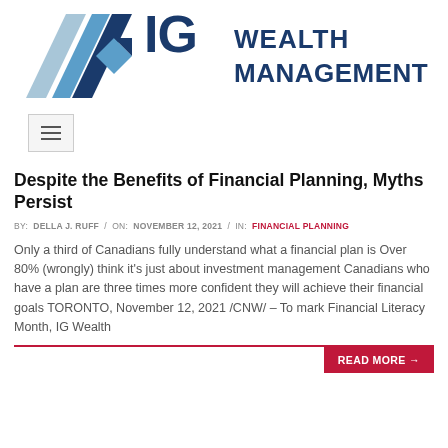[Figure (logo): IG Wealth Management logo with blue parallelogram graphic and dark navy text reading WEALTH MANAGEMENT]
Despite the Benefits of Financial Planning, Myths Persist
BY: DELLA J. RUFF / ON: NOVEMBER 12, 2021 / IN: FINANCIAL PLANNING
Only a third of Canadians fully understand what a financial plan is Over 80% (wrongly) think it's just about investment management Canadians who have a plan are three times more confident they will achieve their financial goals TORONTO, November 12, 2021 /CNW/ – To mark Financial Literacy Month, IG Wealth
READ MORE →